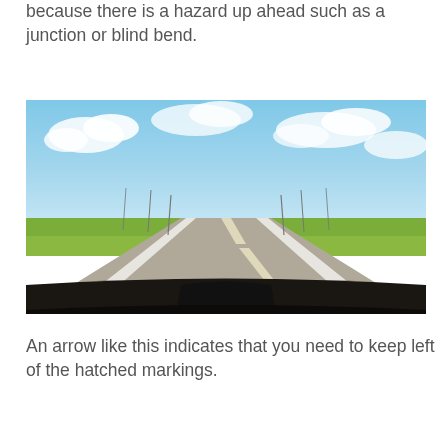because there is a hazard up ahead such as a junction or blind bend.
[Figure (photo): View from inside a car looking out through the windshield at a long straight two-lane road stretching into the distance, with flat grassy fields on either side, utility poles along the road, blue sky with clouds above, and the car's dashboard visible at the bottom of the frame.]
An arrow like this indicates that you need to keep left of the hatched markings.